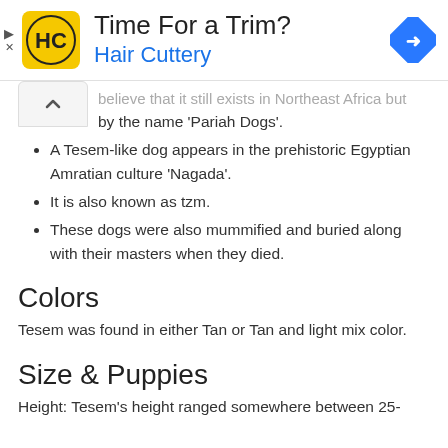[Figure (advertisement): Hair Cuttery advertisement banner with yellow HC logo, 'Time For a Trim?' headline, 'Hair Cuttery' subtitle in blue, and blue navigation diamond icon on right]
believe that it still exists in Northeast Africa but by the name 'Pariah Dogs'.
A Tesem-like dog appears in the prehistoric Egyptian Amratian culture 'Nagada'.
It is also known as tzm.
These dogs were also mummified and buried along with their masters when they died.
Colors
Tesem was found in either Tan or Tan and light mix color.
Size & Puppies
Height: Tesem's height ranged somewhere between 25-